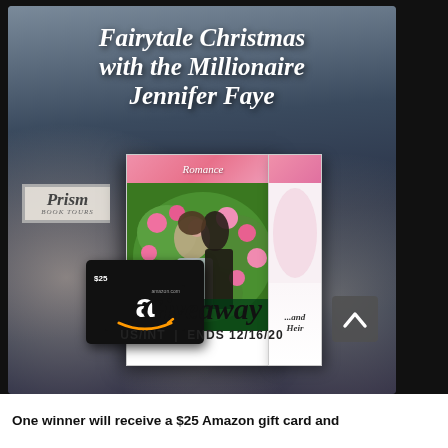[Figure (illustration): Promotional giveaway graphic for 'Fairytale Christmas with the Millionaire' by Jennifer Faye, featuring Harlequin Romance book covers against a blurred candle background, an Amazon $25 gift card, Prism Book Tours badge, and giveaway details: US/INT, ends 12/16/20]
One winner will receive a $25 Amazon gift card and